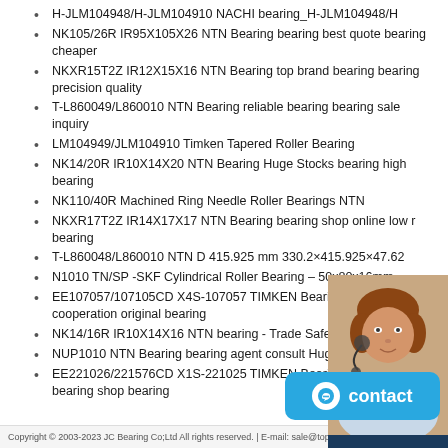H-JLM104948/H-JLM104910 NACHI bearing_H-JLM104948/H
NK105/26R IR95X105X26 NTN Bearing bearing best quote bearing cheaper
NKXR15T2Z IR12X15X16 NTN Bearing top brand bearing bearing precision quality
T-L860049/L860010 NTN Bearing reliable bearing bearing sale inquiry
LM104949/JLM104910 Timken Tapered Roller Bearing
NK14/20R IR10X14X20 NTN Bearing Huge Stocks bearing high bearing
NK110/40R Machined Ring Needle Roller Bearings NTN
NKXR17T2Z IR14X17X17 NTN Bearing bearing shop online low r bearing
T-L860048/L860010 NTN D 415.925 mm 330.2×415.925×47.62
N1010 TN/SP -SKF Cylindrical Roller Bearing – 50x80x16mm
EE107057/107105CD X4S-107057 TIMKEN Bearing bearing cooperation original bearing
NK14/16R IR10X14X16 NTN bearing - Trade Safer and Easier
NUP1010 NTN Bearing bearing agent consult Huge Stocks bearing
EE221026/221576CD X1S-221025 TIMKEN Bearing low noise bearing shop bearing
[Figure (other): 24/7 Online chat widget with a woman wearing headset, italic text 'Have any requests, click here.' and an orange Quotation button]
[Figure (other): Blue contact button with chat icon]
Copyright © 2003-2023 JC Bearing Co;Ltd All rights reserved. | E-mail: sale@topbearin...